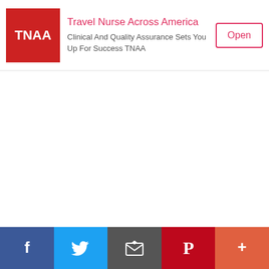[Figure (screenshot): Advertisement banner for Travel Nurse Across America (TNAA) with red TNAA logo, title text, subtitle, and an Open button]
[Figure (screenshot): Collapse/chevron up button below the ad banner]
[Figure (screenshot): Social sharing bar at the bottom with Facebook, Twitter, Email, Pinterest, and More buttons]